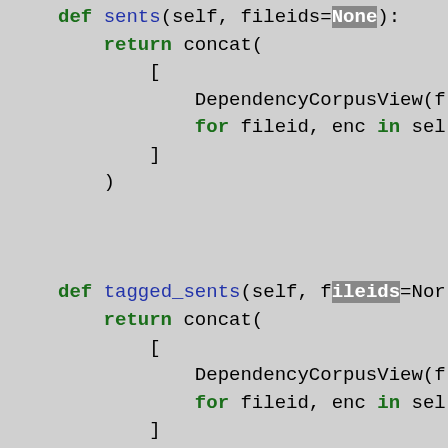def sents(self, fileids=None):
    return concat(
        [
            DependencyCorpusView(f
            for fileid, enc in sel
        ]
    )

def tagged_sents(self, fileids=None
    return concat(
        [
            DependencyCorpusView(f
            for fileid, enc in sel
        ]
    )